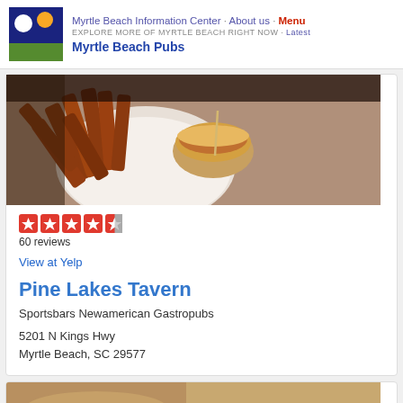Myrtle Beach Information Center · About us · Menu
EXPLORE MORE OF MYRTLE BEACH RIGHT NOW · Latest
Myrtle Beach Pubs
[Figure (photo): Photo of food: sweet potato fries and a burger on a white plate on a granite table]
[Figure (other): Yelp star rating: 4.5 stars out of 5, 60 reviews]
60 reviews
View at Yelp
Pine Lakes Tavern
Sportsbars Newamerican Gastropubs
5201 N Kings Hwy
Myrtle Beach, SC 29577
[Figure (photo): Partial photo of food at bottom of page (second card, cropped)]